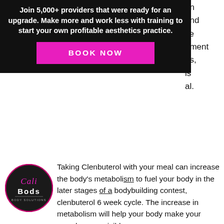[Figure (infographic): Black banner advertisement: 'Join 5,000+ providers that were ready for an upgrade. Make more and work less with training to start your own profitable aesthetics practice.' with a magenta BOOK NOW button.]
an and ve ement es, is al.
[Figure (logo): Cali Bods logo — circular black badge with script text 'Cali Bods' in pink/white.]
Taking Clenbuterol with your meal can increase the body's metabolism to fuel your body in the later stages of a bodybuilding contest, clenbuterol 6 week cycle. The increase in metabolism will help your body make your muscle more visible.
undefined
Related Article:
https://www.toptemporary.org/profile/what